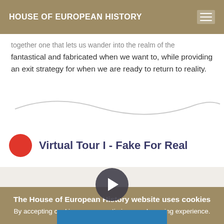HOUSE OF EUROPEAN HISTORY
together one that lets us wander into the realm of the fantastical and fabricated when we want to, while providing an exit strategy for when we are ready to return to reality.
Virtual Tour I - Fake For Real
[Figure (screenshot): Video thumbnail with play button]
The House of European History website uses cookies
By accepting cookies you can optimise your browsing experience.